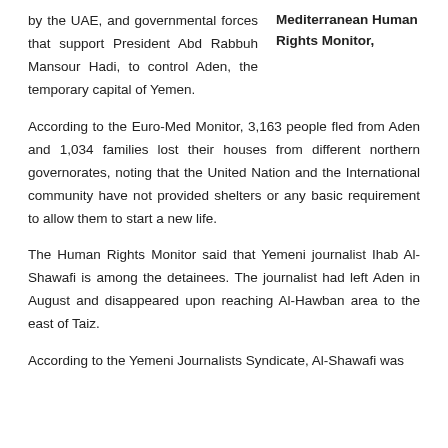by the UAE, and governmental forces that support President Abd Rabbuh Mansour Hadi, to control Aden, the temporary capital of Yemen.
Mediterranean Human Rights Monitor,
According to the Euro-Med Monitor, 3,163 people fled from Aden and 1,034 families lost their houses from different northern governorates, noting that the United Nation and the International community have not provided shelters or any basic requirement to allow them to start a new life.
The Human Rights Monitor said that Yemeni journalist Ihab Al-Shawafi is among the detainees. The journalist had left Aden in August and disappeared upon reaching Al-Hawban area to the east of Taiz.
According to the Yemeni Journalists Syndicate, Al-Shawafi was